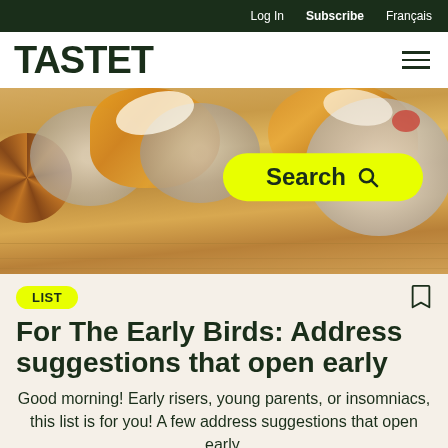Log In   Subscribe   Français
TASTET
[Figure (photo): Hero food photo showing plates of pastries and baked goods on a wooden table, with a yellow search bar pill overlaid reading 'Search' with a magnifying glass icon]
LIST
For The Early Birds: Address suggestions that open early
Good morning! Early risers, young parents, or insomniacs, this list is for you! A few address suggestions that open early.